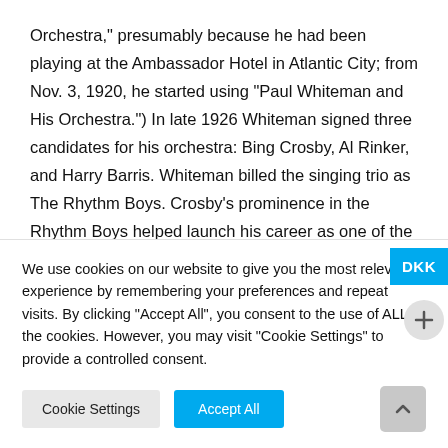Orchestra," presumably because he had been playing at the Ambassador Hotel in Atlantic City; from Nov. 3, 1920, he started using "Paul Whiteman and His Orchestra.") In late 1926 Whiteman signed three candidates for his orchestra: Bing Crosby, Al Rinker, and Harry Barris. Whiteman billed the singing trio as The Rhythm Boys. Crosby's prominence in the Rhythm Boys helped launch his career as one of the most successful singers of the 20th century. Paul Robeson (1928) and Billie Holiday
We use cookies on our website to give you the most relevant experience by remembering your preferences and repeat visits. By clicking "Accept All", you consent to the use of ALL the cookies. However, you may visit "Cookie Settings" to provide a controlled consent.